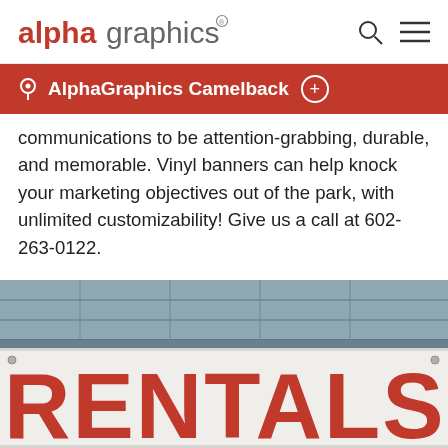alphagraphics
AlphaGraphics Camelback
communications to be attention-grabbing, durable, and memorable. Vinyl banners can help knock your marketing objectives out of the park, with unlimited customizability! Give us a call at 602-263-0122.
[Figure (photo): A white vinyl banner with large red 'RENTALS' text mounted on a wooden plank background]